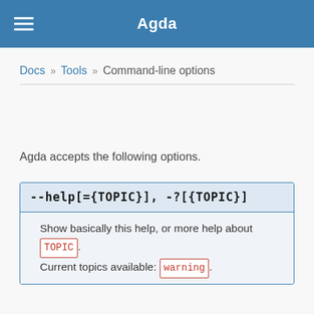Agda
Docs » Tools » Command-line options
Agda accepts the following options.
--help[={TOPIC}], -?[{TOPIC}]
Show basically this help, or more help about TOPIC. Current topics available: warning.